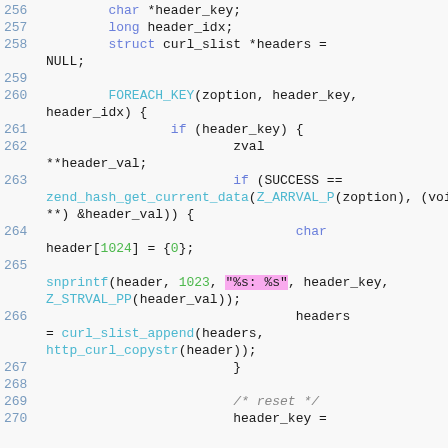Code listing lines 256-270: C source code showing header processing with FOREACH_KEY, zend_hash_get_current_data, snprintf, curl_slist_append calls